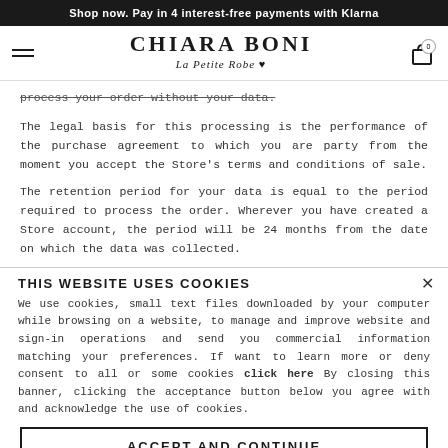Shop now. Pay in 4 interest-free payments with Klarna
[Figure (logo): Chiara Boni La Petite Robe logo with hamburger menu and cart icon]
process your order without your data.
The legal basis for this processing is the performance of the purchase agreement to which you are party from the moment you accept the Store's terms and conditions of sale.
The retention period for your data is equal to the period required to process the order. Wherever you have created a Store account, the period will be 24 months from the date on which the data was collected.
THIS WEBSITE USES COOKIES
We use cookies, small text files downloaded by your computer while browsing on a website, to manage and improve website and sign-in operations and send you commercial information matching your preferences. If want to learn more or deny consent to all or some cookies click here By closing this banner, clicking the acceptance button below you agree with and acknowledge the use of cookies.
ACCEPT AND CONTINUE